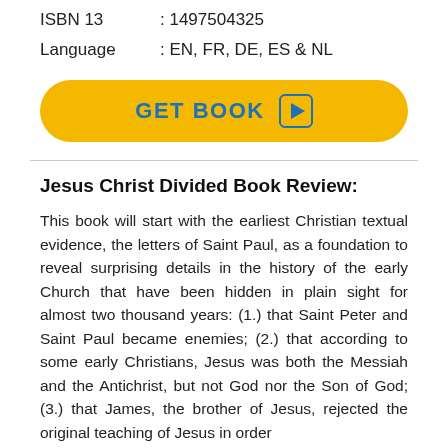ISBN 13 : 1497504325
Language : EN, FR, DE, ES & NL
GET BOOK
Jesus Christ Divided Book Review:
This book will start with the earliest Christian textual evidence, the letters of Saint Paul, as a foundation to reveal surprising details in the history of the early Church that have been hidden in plain sight for almost two thousand years: (1.) that Saint Peter and Saint Paul became enemies; (2.) that according to some early Christians, Jesus was both the Messiah and the Antichrist, but not God nor the Son of God; (3.) that James, the brother of Jesus, rejected the original teaching of Jesus in order